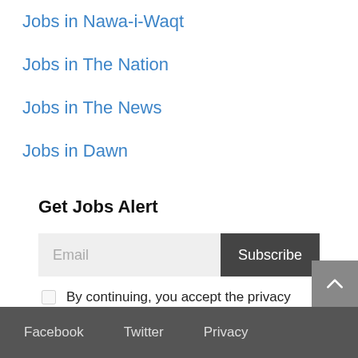Jobs in Nawa-i-Waqt
Jobs in The Nation
Jobs in The News
Jobs in Dawn
Get Jobs Alert
Email Subscribe
By continuing, you accept the privacy policy
Facebook   Twitter   Privacy